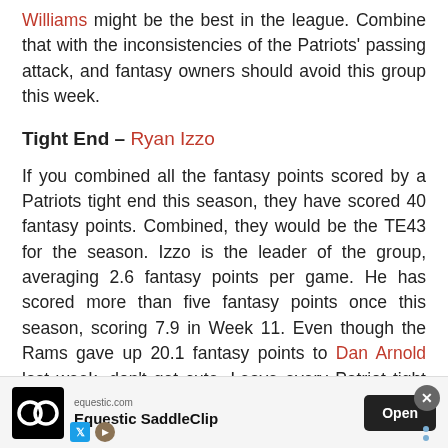Williams might be the best in the league. Combine that with the inconsistencies of the Patriots' passing attack, and fantasy owners should avoid this group this week.
Tight End – Ryan Izzo
If you combined all the fantasy points scored by a Patriots tight end this season, they have scored 40 fantasy points. Combined, they would be the TE43 for the season. Izzo is the leader of the group, averaging 2.6 fantasy points per game. He has scored more than five fantasy points once this season, scoring 7.9 in Week 11. Even though the Rams gave up 20.1 fantasy points to Dan Arnold last week, don't get cute. Leave every Patriot tight end on the waiver wire, no matter how deep your league is.
[Figure (other): Advertisement banner for Equestic SaddleClip from equestic.com with Open button and close X button]